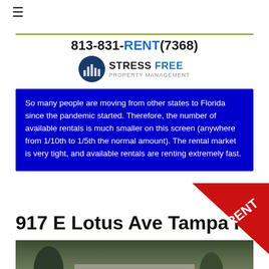≡
813-831-RENT(7368)
[Figure (logo): Stress Free Property Management logo with city skyline in circle and text STRESS FREE PROPERTY MANAGEMENT]
So many people are moving from other states to Florida since the pandemic started. Therefore, the number of available rentals is much smaller on this screen (anywhere from 1/10th to 1/5th the normal amount). The rental market is very tight, and available rentals are renting extremely fast.
917 E Lotus Ave Tampa FL 33612
[Figure (photo): Exterior photo of a house at 917 E Lotus Ave Tampa FL with trees in the foreground and a red RENT badge/stamp overlaid on the top right]